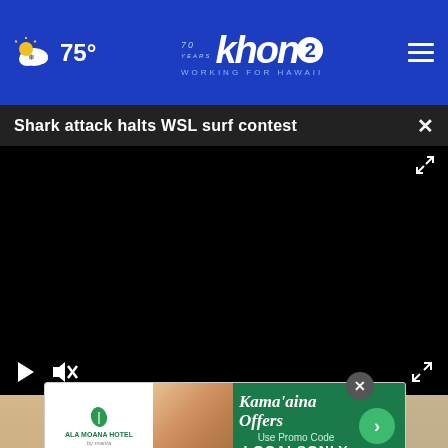khon2 WORKING FOR HAWAII — 75°
Shark attack halts WSL surf contest
[Figure (screenshot): Black video player area with play button, mute button, and fullscreen expand button]
[Figure (photo): Partial photo visible below video player, blurred image of person with helmet or device]
[Figure (other): Ala Moana Hotel advertisement — Kama'aina Offers, Use Promo Code LOCALSONLY]